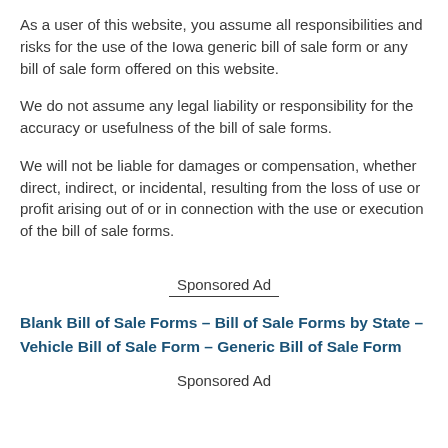As a user of this website, you assume all responsibilities and risks for the use of the Iowa generic bill of sale form or any bill of sale form offered on this website.
We do not assume any legal liability or responsibility for the accuracy or usefulness of the bill of sale forms.
We will not be liable for damages or compensation, whether direct, indirect, or incidental, resulting from the loss of use or profit arising out of or in connection with the use or execution of the bill of sale forms.
Sponsored Ad
Blank Bill of Sale Forms – Bill of Sale Forms by State – Vehicle Bill of Sale Form – Generic Bill of Sale Form
Sponsored Ad